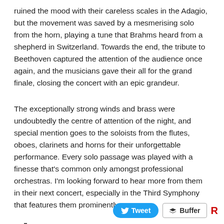ruined the mood with their careless scales in the Adagio, but the movement was saved by a mesmerising solo from the horn, playing a tune that Brahms heard from a shepherd in Switzerland. Towards the end, the tribute to Beethoven captured the attention of the audience once again, and the musicians gave their all for the grand finale, closing the concert with an epic grandeur.
The exceptionally strong winds and brass were undoubtedly the centre of attention of the night, and special mention goes to the soloists from the flutes, oboes, clarinets and horns for their unforgettable performance. Every solo passage was played with a finesse that's common only amongst professional orchestras. I'm looking forward to hear more from them in their next concert, especially in the Third Symphony that features them prominently.
13,015 total views,  2 views today